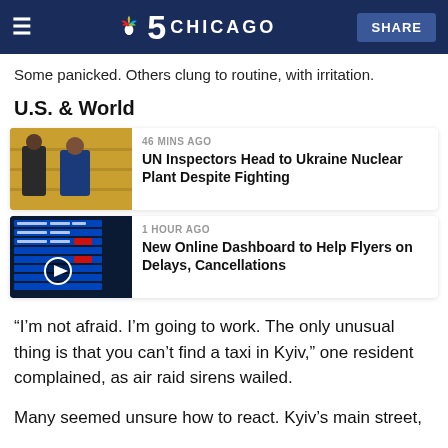NBC 5 Chicago — SHARE
Some panicked. Others clung to routine, with irritation.
U.S. & World
[Figure (photo): Photo of two people in a gold-shelved room, news card for 'UN Inspectors Head to Ukraine Nuclear Plant Despite Fighting', timestamp: 46 MINS AGO]
[Figure (photo): Photo of a flight departures board with a play button overlay, news card for 'New Online Dashboard to Help Flyers on Delays, Cancellations', timestamp: 1 HOUR AGO]
“I’m not afraid. I’m going to work. The only unusual thing is that you can’t find a taxi in Kyiv,” one resident complained, as air raid sirens wailed.
Many seemed unsure how to react. Kyiv’s main street,